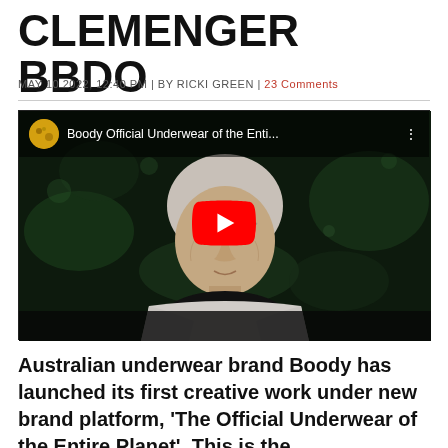CLEMENGER BBDO
MAY 10 2022, 12:40 PM | BY RICKI GREEN | 23 Comments
[Figure (screenshot): YouTube video embed showing 'Boody Official Underwear of the Enti...' with a YouTube play button overlay on a dark video frame showing an elderly person's face]
Australian underwear brand Boody has launched its first creative work under new brand platform, 'The Official Underwear of the Entire Planet'. This is the